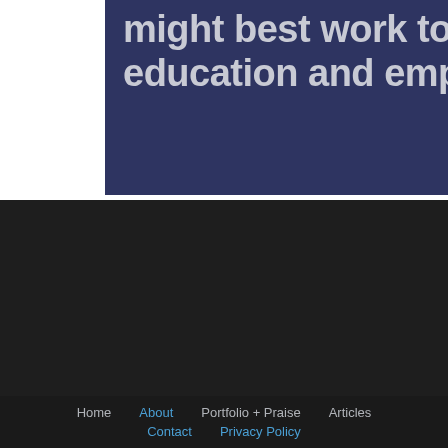might best work together for education and empowerment.
[Figure (other): Dark background section with a scroll-to-top button in the bottom right corner showing an upward chevron arrow]
Home  About  Portfolio + Praise  Articles  Contact  Privacy Policy